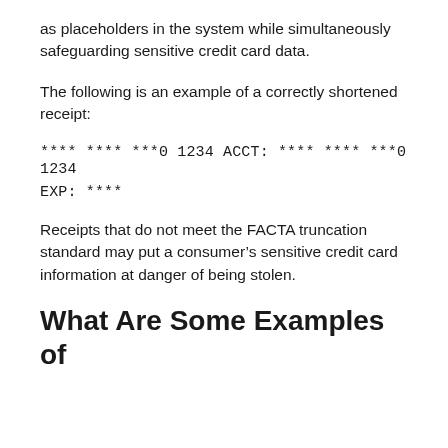as placeholders in the system while simultaneously safeguarding sensitive credit card data.
The following is an example of a correctly shortened receipt:
**** **** ***0 1234 ACCT: **** **** ***0 1234
EXP: ****
Receipts that do not meet the FACTA truncation standard may put a consumer’s sensitive credit card information at danger of being stolen.
What Are Some Examples of